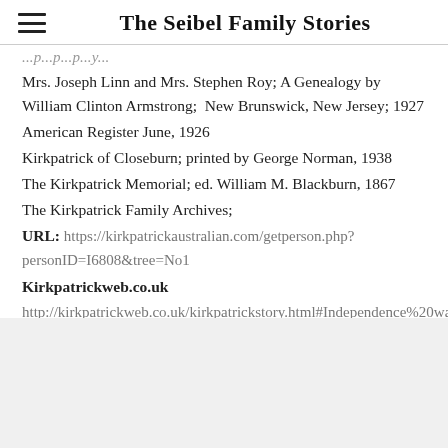The Seibel Family Stories
[truncated line above]
Mrs. Joseph Linn and Mrs. Stephen Roy; A Genealogy by William Clinton Armstrong;  New Brunswick, New Jersey; 1927
American Register June, 1926
Kirkpatrick of Closeburn; printed by George Norman, 1938
The Kirkpatrick Memorial; ed. William M. Blackburn, 1867
The Kirkpatrick Family Archives;
URL: https://kirkpatrickaustralian.com/getperson.php?personID=I6808&tree=No1
Kirkpatrickweb.co.uk
http://kirkpatrickweb.co.uk/kirkpatrickstory.html#Independence%20wars